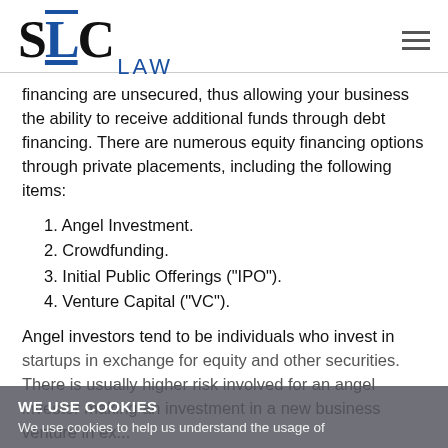SLC LAW
financing are unsecured, thus allowing your business the ability to receive additional funds through debt financing. There are numerous equity financing options through private placements, including the following items:
1. Angel Investment.
2. Crowdfunding.
3. Initial Public Offerings ("IPO").
4. Venture Capital ("VC").
Angel investors tend to be individuals who invest in startups in exchange for equity and other securities. There is usually higher risk involved for an angel investor making an investment in a new business venture in ex...
WE USE COOKIES
We use cookies to help us understand the usage of